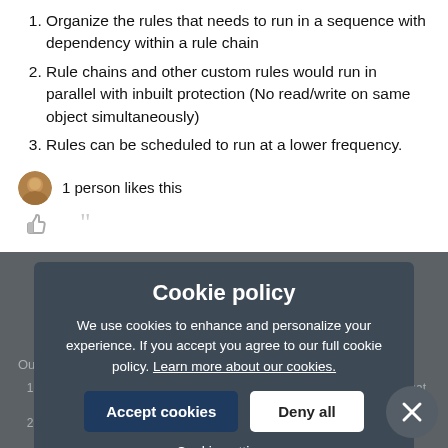Organize the rules that needs to run in a sequence with dependency within a rule chain
Rule chains and other custom rules would run in parallel with inbuilt protection (No read/write on same object simultaneously)
Rules can be scheduled to run at a lower frequency.
1 person likes this
Cookie policy
We use cookies to enhance and personalize your experience. If you accept you agree to our full cookie policy. Learn more about our cookies.
Accept cookies
Deny all
Cookie settings
Our situation:
We have cloned the rule that pushes new cust... after closed won... that custom...
We have closed the rule that creates an onboarding GT+ for the new customer...